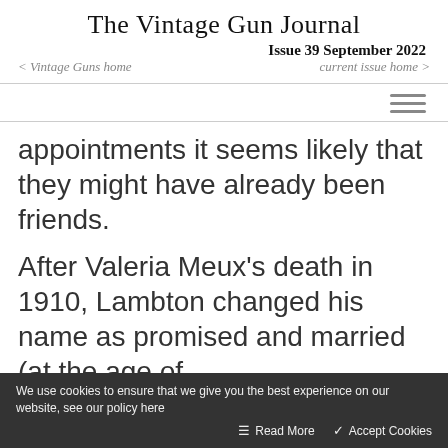The Vintage Gun Journal
Issue 39 September 2022
< Vintage Guns home    current issue home >
appointments it seems likely that they might have already been friends.
After Valeria Meux's death in 1910, Lambton changed his name as promised and married (at the age of
We use cookies to ensure that we give you the best experience on our website, see our policy here   Read More   ✓ Accept Cookies